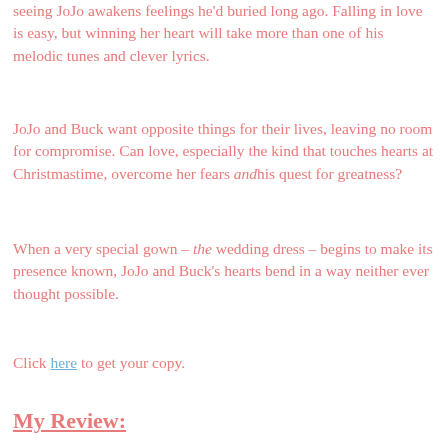seeing JoJo awakens feelings he'd buried long ago. Falling in love is easy, but winning her heart will take more than one of his melodic tunes and clever lyrics.
JoJo and Buck want opposite things for their lives, leaving no room for compromise. Can love, especially the kind that touches hearts at Christmastime, overcome her fears and his quest for greatness?
When a very special gown – the wedding dress – begins to make its presence known, JoJo and Buck's hearts bend in a way neither ever thought possible.
Click here to get your copy.
My Review: